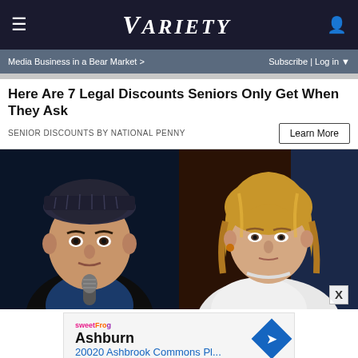VARIETY
Media Business in a Bear Market >    Subscribe | Log in
Here Are 7 Legal Discounts Seniors Only Get When They Ask
SENIOR DISCOUNTS BY NATIONAL PENNY
[Figure (photo): Left photo: man with dark knit cap holding microphone against blue/dark background. Right photo: woman with blonde hair in white outfit against dark background.]
Ashburn
20020 Ashbrook Commons Pl...